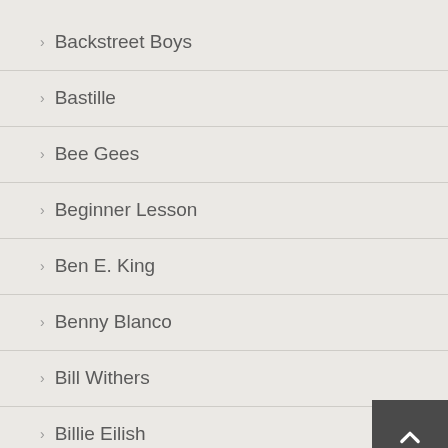Backstreet Boys
Bastille
Bee Gees
Beginner Lesson
Ben E. King
Benny Blanco
Bill Withers
Billie Eilish
Billy Ray Cyrus